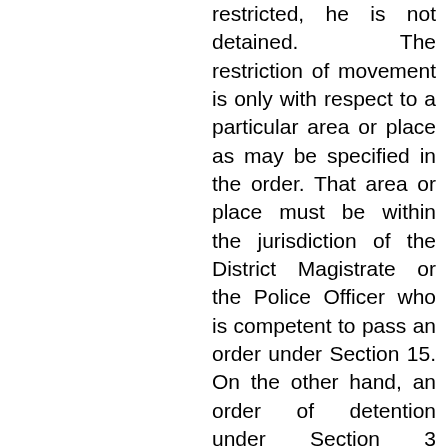restricted, he is not detained. The restriction of movement is only with respect to a particular area or place as may be specified in the order. That area or place must be within the jurisdiction of the District Magistrate or the Police Officer who is competent to pass an order under Section 15. On the other hand, an order of detention under Section 3 deprives the person concerned of his liberty